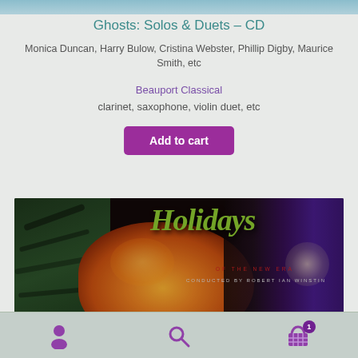[Figure (photo): Top portion of a blue-toned CD cover image, partially visible at top of page]
Ghosts: Solos & Duets – CD
Monica Duncan, Harry Bulow, Cristina Webster, Phillip Digby, Maurice Smith, etc
Beauport Classical
clarinet, saxophone, violin duet, etc
Add to cart
[Figure (photo): Album cover for 'Holidays of the New Era', conducted by Robert Ian Winstin. Dark background with green scripted Holidays title, orange/red rose in foreground, palm fronds on left, purple/blue right side.]